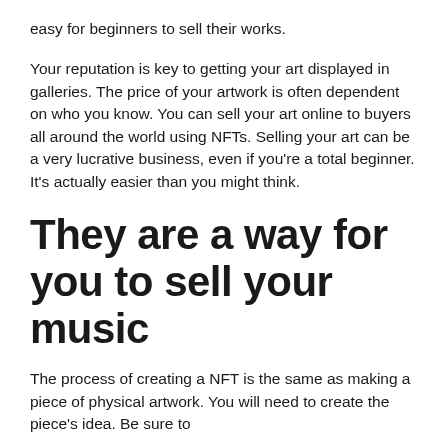easy for beginners to sell their works.
Your reputation is key to getting your art displayed in galleries. The price of your artwork is often dependent on who you know. You can sell your art online to buyers all around the world using NFTs. Selling your art can be a very lucrative business, even if you're a total beginner. It's actually easier than you might think.
They are a way for you to sell your music
The process of creating a NFT is the same as making a piece of physical artwork. You will need to create the piece's idea. Be sure to